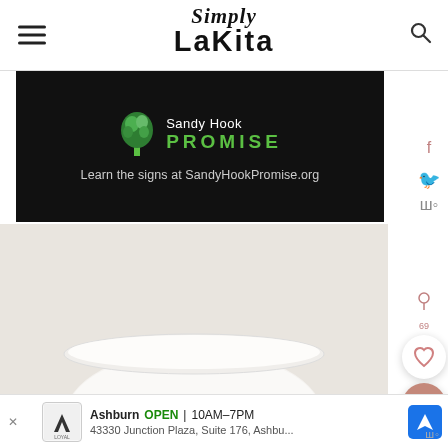Simply LaKita
[Figure (photo): Sandy Hook Promise advertisement banner with tree logo on black background. Text: 'Sandy Hook PROMISE' and 'Learn the signs at SandyHookPromise.org']
[Figure (photo): Close-up photo of a white bowl on a light beige background, partially visible from below]
Ashburn OPEN | 10AM-7PM  43330 Junction Plaza, Suite 176, Ashbu...